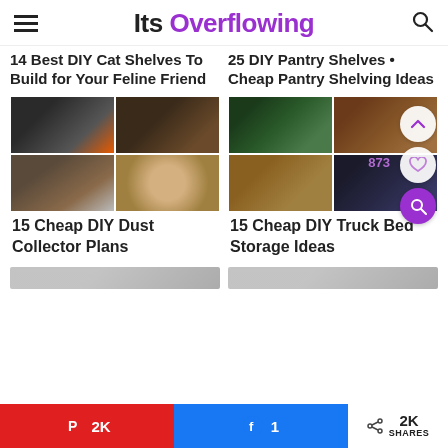Its Overflowing
14 Best DIY Cat Shelves To Build for Your Feline Friend
25 DIY Pantry Shelves • Cheap Pantry Shelving Ideas
[Figure (photo): Collage of 4 images showing DIY dust collector equipment including pipes, canisters, and dust bowls]
15 Cheap DIY Dust Collector Plans
[Figure (photo): Collage of 4 images showing truck bed storage drawers and organizers]
15 Cheap DIY Truck Bed Storage Ideas
2K
1
2K SHARES